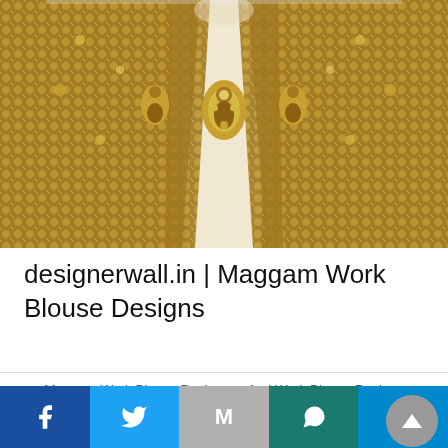[Figure (photo): Close-up photo of ornate Indian embroidery/zari work on a blouse design, showing gold thread embellishments with cream fabric background in a V-neck collar style]
designerwall.in | Maggam Work Blouse Designs
Maggam Work Blouse Designs
Aari Work Blouse Designs
₹ 2,000 Blouse Designs Collections
Aari Work Blouse Hand Designs
Bridal Blouse Designs
Casual blouse designs
Marriage Blouse Design
Facebook  Twitter  Gmail  WhatsApp  Telegram